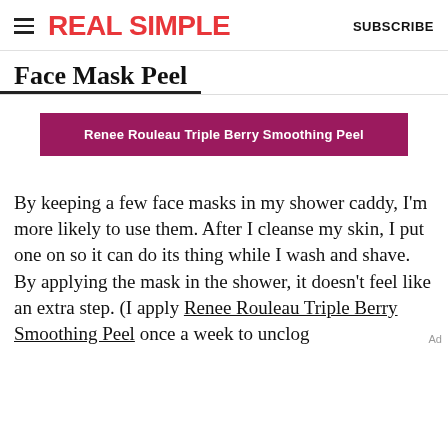REAL SIMPLE   SUBSCRIBE
Face Mask Peel
Renee Rouleau Triple Berry Smoothing Peel
By keeping a few face masks in my shower caddy, I'm more likely to use them. After I cleanse my skin, I put one on so it can do its thing while I wash and shave. By applying the mask in the shower, it doesn't feel like an extra step. (I apply Renee Rouleau Triple Berry Smoothing Peel once a week to unclog